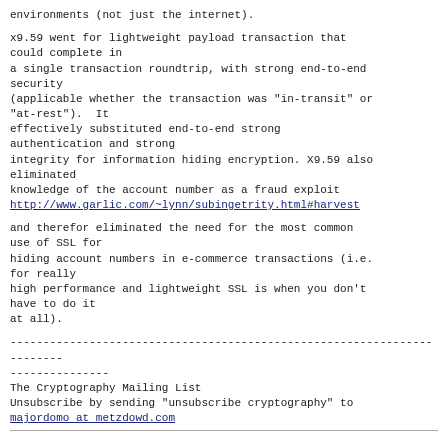environments (not just the internet).
x9.59 went for lightweight payload transaction that could complete in
a single transaction roundtrip, with strong end-to-end security
(applicable whether the transaction was "in-transit" or
"at-rest").  It
effectively substituted end-to-end strong authentication and strong
integrity for information hiding encryption. X9.59 also eliminated
knowledge of the account number as a fraud exploit
http://www.garlic.com/~lynn/subingetrity.html#harvest
and therefor eliminated the need for the most common use of SSL for
hiding account numbers in e-commerce transactions (i.e. for really
high performance and lightweight SSL is when you don't have to do it
at all).
------------------------------------------------------------------------
---------------
The Cryptography Mailing List
Unsubscribe by sending "unsubscribe cryptography" to
majordomo at metzdowd.com